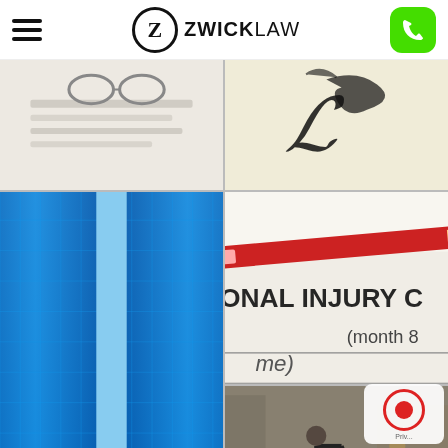[Figure (screenshot): ZwickLaw website header with hamburger menu icon on left, ZwickLaw logo in center (Z in circle followed by ZWICK LAW text), and green phone button on right]
[Figure (photo): Legal document with glasses, top-left image in grid]
[Figure (photo): Ornate law script/logo on cream background, top-right image in grid]
[Figure (photo): Personal injury claim form with red pencil on top, text visible: ONAL INJURY C and (month 8 and me)]
[Figure (photo): Modern blue glass skyscraper buildings shot from below, spanning right column rows 2-3]
[Figure (photo): Wheelchair user on city street with blurred background, bottom-left image]
[Figure (photo): Partial text 'Es' visible at bottom right, partially covered by privacy/cookie consent badge]